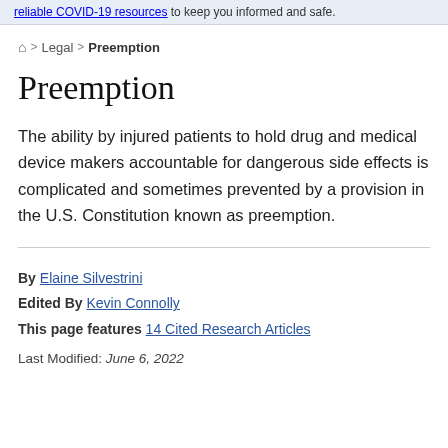reliable COVID-19 resources to keep you informed and safe.
🏠 > Legal > Preemption
Preemption
The ability by injured patients to hold drug and medical device makers accountable for dangerous side effects is complicated and sometimes prevented by a provision in the U.S. Constitution known as preemption.
By Elaine Silvestrini
Edited By Kevin Connolly
This page features 14 Cited Research Articles
Last Modified: June 6, 2022